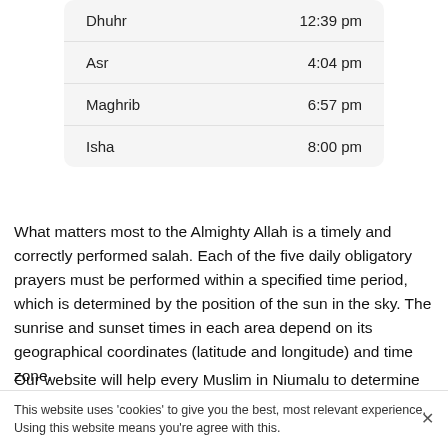| Prayer | Time |
| --- | --- |
| Dhuhr | 12:39 pm |
| Asr | 4:04 pm |
| Maghrib | 6:57 pm |
| Isha | 8:00 pm |
What matters most to the Almighty Allah is a timely and correctly performed salah. Each of the five daily obligatory prayers must be performed within a specified time period, which is determined by the position of the sun in the sky. The sunrise and sunset times in each area depend on its geographical coordinates (latitude and longitude) and time zone.
Our website will help every Muslim in Niumalu to determine the exact time and direction for performing the five canonical
This website uses 'cookies' to give you the best, most relevant experience. Using this website means you're agree with this.